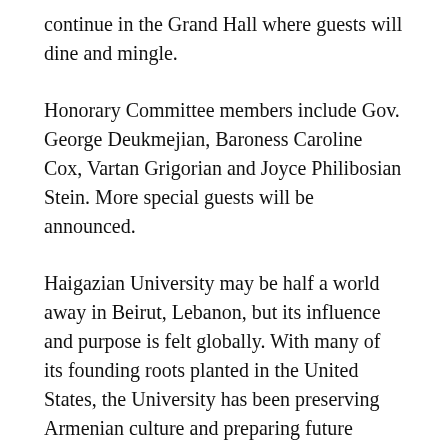continue in the Grand Hall where guests will dine and mingle.
Honorary Committee members include Gov. George Deukmejian, Baroness Caroline Cox, Vartan Grigorian and Joyce Philibosian Stein. More special guests will be announced.
Haigazian University may be half a world away in Beirut, Lebanon, but its influence and purpose is felt globally. With many of its founding roots planted in the United States, the University has been preserving Armenian culture and preparing future educators in the Diaspora for nearly 60 years. This upcoming Anniversary is a celebration of both the School and all for which it stands.